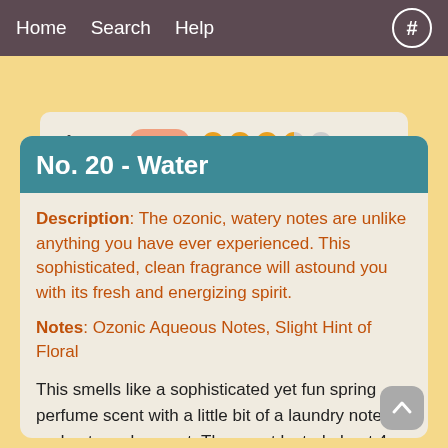Home  Search  Help  #
[Figure (screenshot): Truncated card showing 'Throw: 3.50' with colored rating dots, partially visible at top]
No. 20 - Water
Description: The ozonic, watery notes are unlike anything you have ever experienced. This sophisticated, clean fragrance will astound you with its fresh and energizing spirit.
Notes: Ozonic Aqueous Notes, Slight Hint of Floral
This smells like a sophisticated yet fun spring perfume scent with a little bit of a laundry note, and not overly sweet. The scent lasted about 4 hours.
Throw: 3.50